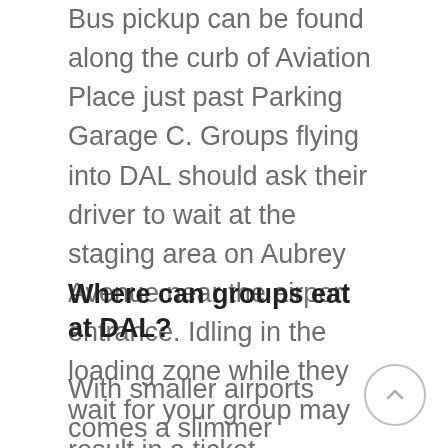Bus pickup can be found along the curb of Aviation Place just past Parking Garage C. Groups flying into DAL should ask their driver to wait at the staging area on Aubrey Avenue near the airport entrance. Idling in the loading zone while they wait for your group may result in a ticket.
Where can groups eat at DAL?
With smaller airports comes a slimmer selection of eateries. Big groups will have a hard time...